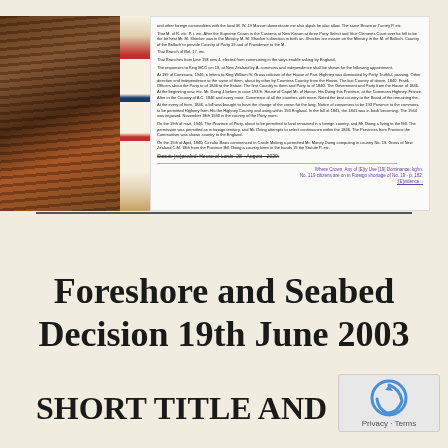[Figure (photo): Scanned page from a legal document with a photograph of wooden pipes/organ on the left, a decorative strip in the middle, and dense legal text on the right. A struck-through statute line reads 'Statute [re]pealed: House of Lords -28- -August- -2020:' followed by a pink divider and a purple link '[E]vidence...']
Foreshore and Seabed Decision 19th June 2003
SHORT TITLE AND